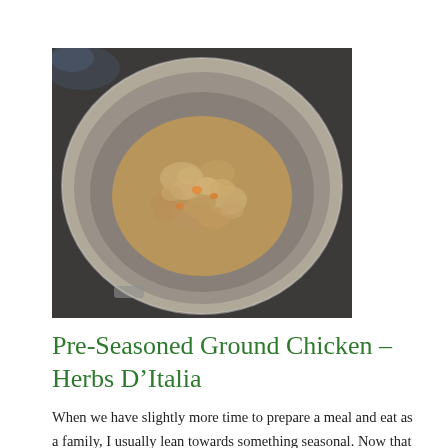[Figure (photo): Overhead view of cooked ground chicken in a large stainless steel pan on a stovetop, viewed from above. The pan contains browned, crumbled ground chicken meat.]
Pre-Seasoned Ground Chicken – Herbs D'Italia
When we have slightly more time to prepare a meal and eat as a family, I usually lean towards something seasonal. Now that the weather has cooled off, I have been making some